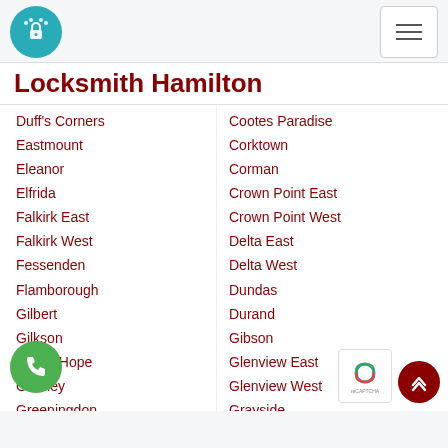Locksmith Hamilton
Duff's Corners
Eastmount
Eleanor
Elfrida
Falkirk East
Falkirk West
Fessenden
Flamborough
Gilbert
Gilkson
Mount Hope
Gourley
Greeningdon
Greensville
Glanbrook (partially hidden)
Stoney Creek (Hampton Heights)
Hannon North
Hannon South
Cootes Paradise
Corktown
Corman
Crown Point East
Crown Point West
Delta East
Delta West
Dundas
Durand
Gibson
Glenview East
Glenview West
Grayside
Greenford
Greenhill
Homeside
International Village
Keith